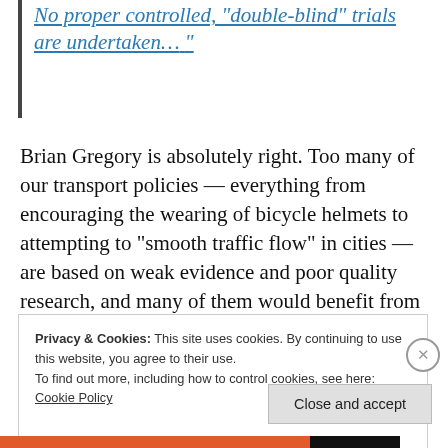No proper controlled, “double-blind” trials are undertaken…“
Brian Gregory is absolutely right. Too many of our transport policies — everything from encouraging the wearing of bicycle helmets to attempting to “smooth traffic flow” in cities — are based on weak evidence and poor quality research, and many of them would benefit from well designed trials.
Privacy & Cookies: This site uses cookies. By continuing to use this website, you agree to their use.
To find out more, including how to control cookies, see here:
Cookie Policy
Close and accept